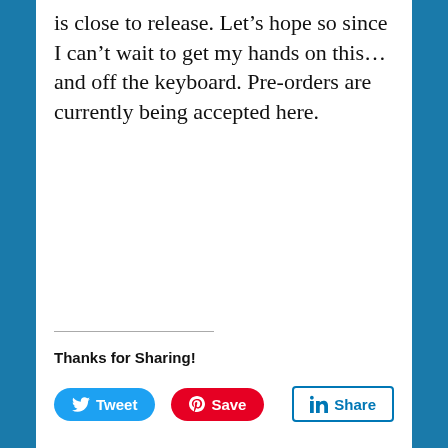is close to release. Let’s hope so since I can’t wait to get my hands on this… and off the keyboard. Pre-orders are currently being accepted here.
Thanks for Sharing!
[Figure (other): Social sharing buttons: Tweet (Twitter/blue), Save (Pinterest/red), Share (LinkedIn/outlined)]